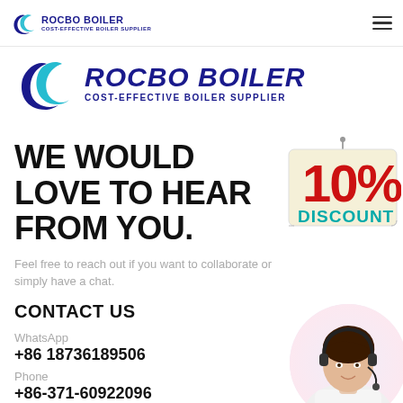ROCBO BOILER — COST-EFFECTIVE BOILER SUPPLIER (nav bar with hamburger menu)
[Figure (logo): Rocbo Boiler logo — large version with crescent/spiral icon and text ROCBO BOILER / COST-EFFECTIVE BOILER SUPPLIER in dark navy italic bold font]
WE WOULD LOVE TO HEAR FROM YOU.
[Figure (illustration): 10% DISCOUNT hanging sign badge — cream/tan background with red 10% text and teal DISCOUNT text]
Feel free to reach out if you want to collaborate or simply have a chat.
CONTACT US
WhatsApp
+86 18736189506
Phone
+86-371-60922096
Email
[Figure (photo): Circular cropped photo of a smiling customer service agent wearing a headset, with another agent visible in the background]